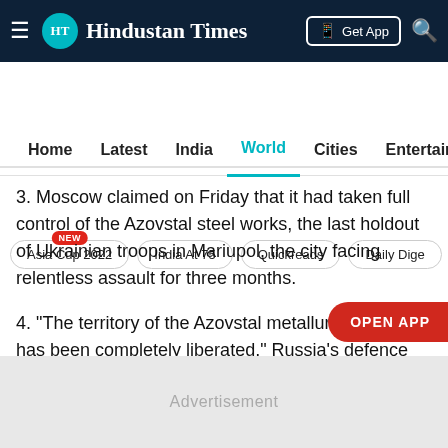Hindustan Times
Home  Latest  India  World  Cities  Entertainment
Asia Cup 2022 NEW  India At 75  Quickreads  Daily Digest
3. Moscow claimed on Friday that it had taken full control of the Azovstal steel works, the last holdout of Ukrainian troops in Mariupol, the city facing relentless assault for three months.
4. "The territory of the Azovstal metallurgical plant... has been completely liberated," Russia's defence ministry was quoted as saying by news agency Reuters as it further said that a total of 2,439 defenders had surrendered in the past few days, but the numbers have not been confirmed by Kyiv.
Advertisement